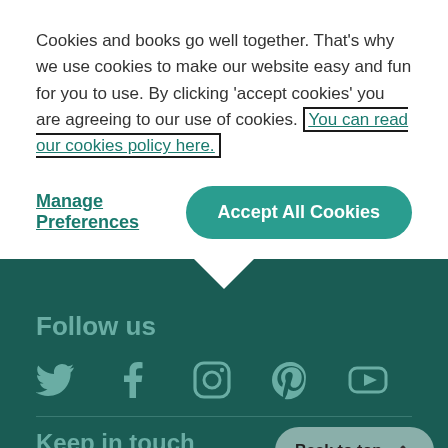Cookies and books go well together. That's why we use cookies to make our website easy and fun for you to use. By clicking 'accept cookies' you are agreeing to our use of cookies. You can read our cookies policy here.
Manage Preferences
Accept All Cookies
Follow us
[Figure (infographic): Social media icons: Twitter, Facebook, Instagram, Pinterest, YouTube]
Back to top
Keep in touch